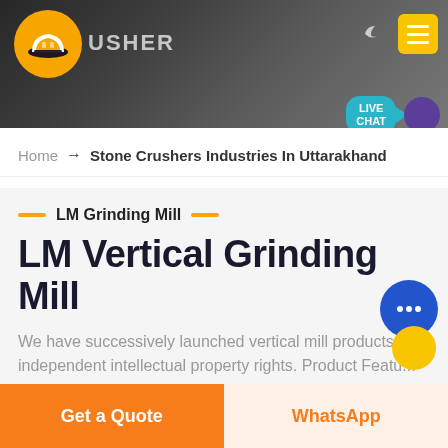[Figure (screenshot): Website header with dark background showing industrial/mining machinery, logo with orange hard hat icon, brand name CRUSHER, dark mode toggle, yellow hamburger menu button, and teal LIVE CHAT speech bubble with purple circle]
Home → Stone Crushers Industries In Uttarakhand
LM Grinding Mill
LM Vertical Grinding Mill
We have successively launched vertical mill products with independent intellectual property rights. Product Featu... Integration of multiple functions, more stable and reliab... production and more excellent capacity.
Get a Quote
WhatsApp